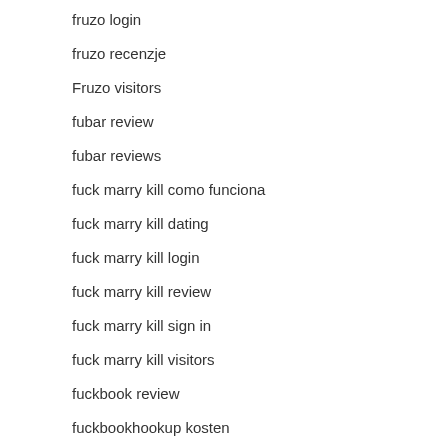fruzo login
fruzo recenzje
Fruzo visitors
fubar review
fubar reviews
fuck marry kill como funciona
fuck marry kill dating
fuck marry kill login
fuck marry kill review
fuck marry kill sign in
fuck marry kill visitors
fuckbook review
fuckbookhookup kosten
fuckbookhookup reviews
Fuckbookhookup visitors
Fuckr review
fuckswipe connexion
Furfling dating app